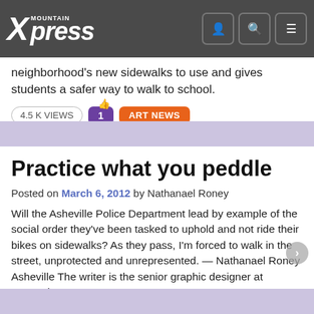Mountain Xpress
neighborhood's new sidewalks to use and gives students a safer way to walk to school.
4.5 K VIEWS  1  ART NEWS
Practice what you peddle
Posted on March 6, 2012 by Nathanael Roney
Will the Asheville Police Department lead by example of the social order they've been tasked to uphold and not ride their bikes on sidewalks? As they pass, I'm forced to walk in the street, unprotected and unrepresented. — Nathanael Roney Asheville The writer is the senior graphic designer at Mountain Xpress
1.1 K VIEWS  +  LETTERS